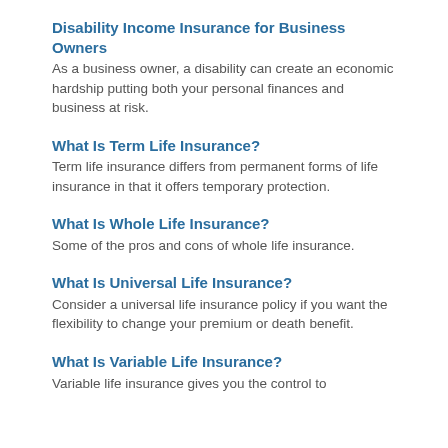Disability Income Insurance for Business Owners
As a business owner, a disability can create an economic hardship putting both your personal finances and business at risk.
What Is Term Life Insurance?
Term life insurance differs from permanent forms of life insurance in that it offers temporary protection.
What Is Whole Life Insurance?
Some of the pros and cons of whole life insurance.
What Is Universal Life Insurance?
Consider a universal life insurance policy if you want the flexibility to change your premium or death benefit.
What Is Variable Life Insurance?
Variable life insurance gives you the control to